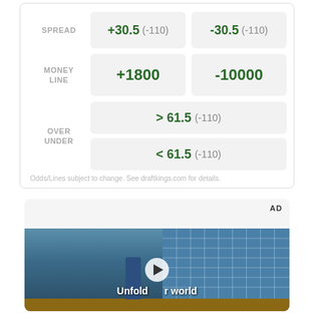|  | Team 1 | Team 2 |
| --- | --- | --- |
| SPREAD | +30.5 (-110) | -30.5 (-110) |
| MONEY LINE | +1800 | -10000 |
| OVER UNDER | > 61.5 (-110) | < 61.5 (-110) |
Odds/Lines subject to change. See draftkings.com for details.
[Figure (photo): Advertisement video thumbnail showing a young man in a denim jacket standing in front of a blue tiled wall, with overlay text 'Unfold your world' and a play button]